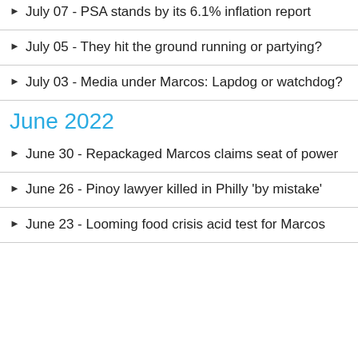July 07 - PSA stands by its 6.1% inflation report
July 05 - They hit the ground running or partying?
July 03 - Media under Marcos: Lapdog or watchdog?
June 2022
June 30 - Repackaged Marcos claims seat of power
June 26 - Pinoy lawyer killed in Philly 'by mistake'
June 23 - Looming food crisis acid test for Marcos